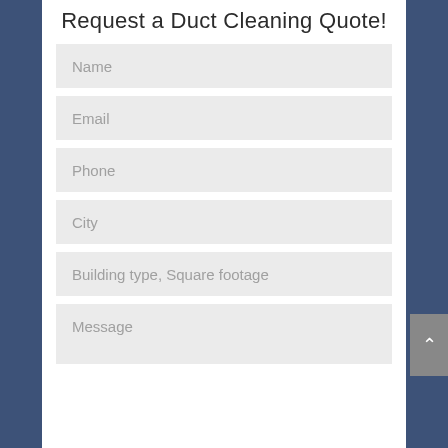Request a Duct Cleaning Quote!
Name
Email
Phone
City
Building type, Square footage
Message